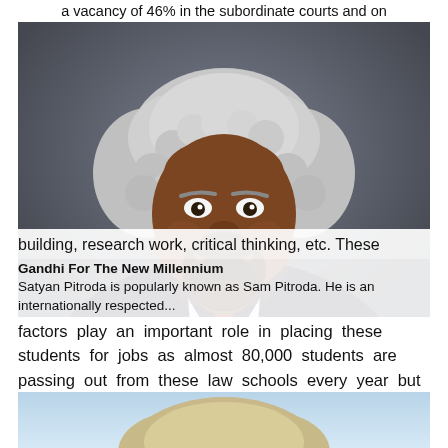a vacancy of 46% in the subordinate courts and on
[Figure (photo): Portrait photo of Sam Pitroda (Satyan Pitroda), a man with white/grey curly hair, dark beard, wearing a dark suit and red tie, smiling, against a grey background.]
Gandhi For The New Millennium
Satyan Pitroda is popularly known as Sam Pitroda. He is an internationally respected...
building, research work, critical thinking, etc. These factors play an important role in placing these students for jobs as almost 80,000 students are passing out from these law schools every year but
[Figure (photo): Partial photo of another person (top of head with blonde/grey hair visible), cut off at bottom of page.]